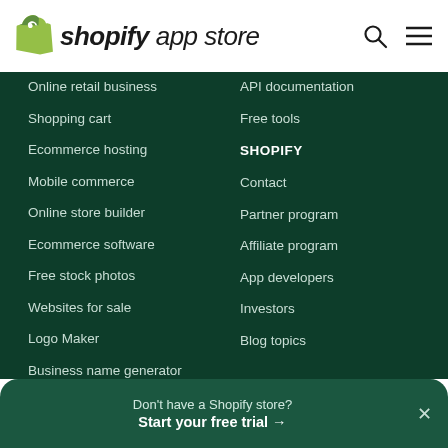shopify app store
Online retail business
Shopping cart
Ecommerce hosting
Mobile commerce
Online store builder
Ecommerce software
Free stock photos
Websites for sale
Logo Maker
Business name generator
API documentation
Free tools
SHOPIFY
Contact
Partner program
Affiliate program
App developers
Investors
Blog topics
Don't have a Shopify store? Start your free trial →